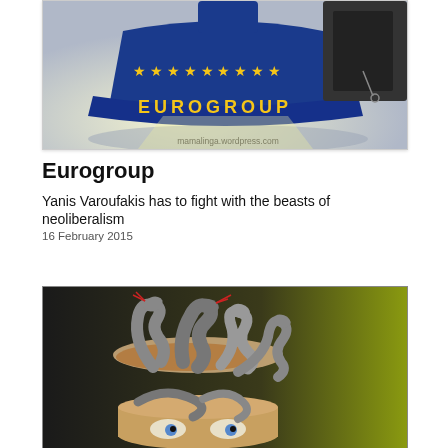[Figure (illustration): Political cartoon showing a large blue hat labeled 'EUROGROUP' with yellow EU stars, partially illuminated from below. A figure in black is visible on the right side holding something. Watermark: mamalinga.wordpress.com]
Eurogroup
Yanis Varoufakis has to fight with the beasts of neoliberalism
16 February 2015
[Figure (illustration): Political cartoon showing a can being opened revealing multiple snake heads emerging from it. The can has eyes with blue irises visible at the bottom. Background transitions from dark to yellowish-green.]